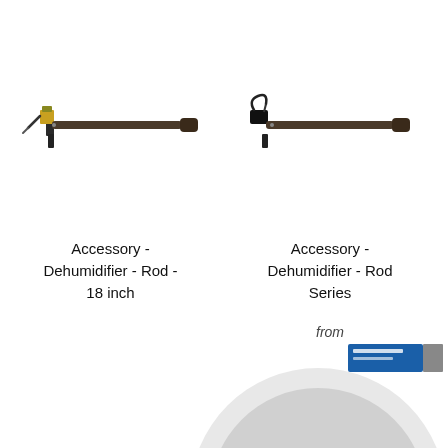[Figure (photo): Dehumidifier rod - 18 inch, horizontal black rod with mounting bracket and connector at left end]
[Figure (photo): Dehumidifier rod series, horizontal black rod with power cable and connectors]
Accessory - Dehumidifier - Rod - 18 inch
Accessory - Dehumidifier - Rod Series
from
[Figure (photo): Partial view of circular product with blue label, cut off at bottom of page]